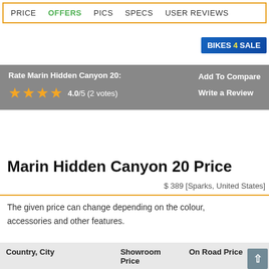PRICE  OFFERS  PICS  SPECS  USER REVIEWS
[Figure (logo): BIKES 4 SALE button/badge in blue with yellow text]
Rate Marin Hidden Canyon 20:
4.0/5 (2 votes)
Add To Compare
Write a Review
Marin Hidden Canyon 20 Price
$ 389 [Sparks, United States]
The given price can change depending on the colour, accessories and other features.
| Country, City | Showroom Price | On Road Price |
| --- | --- | --- |
| United States, Sparks | $ 389 | – |